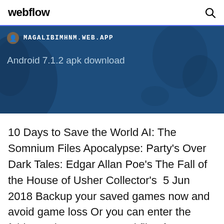webflow
[Figure (screenshot): Blue banner with MAGALIBIMHNM.WEB.APP URL and text 'Android 7.1.2 apk download' on a dark blue background with globe/map shapes]
10 Days to Save the World AI: The Somnium Files Apocalypse: Party's Over Dark Tales: Edgar Allan Poe's The Fall of the House of Usher Collector's  5 Jun 2018 Backup your saved games now and avoid game loss Or you can enter the folder and copy any saved file of your choice. !!!!Remember to